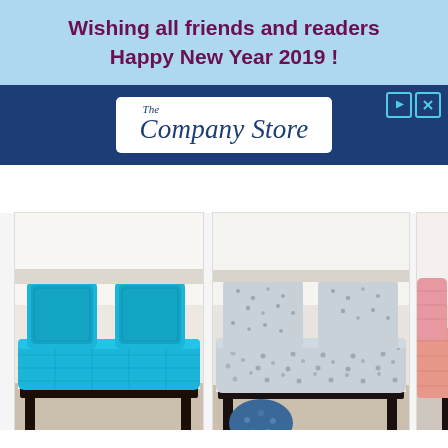Wishing all friends and readers Happy New Year 2019 !
[Figure (photo): The Company Store advertisement banner with white logo on dark navy blue background, with play and close icons in top right corner]
[Figure (photo): Three product photos of bedding: a solid turquoise/blue comforter set on a bed, a grey floral print comforter set with small blue floral accent pillow on the floor, and a solid pink/coral quilt partially visible on the right edge]